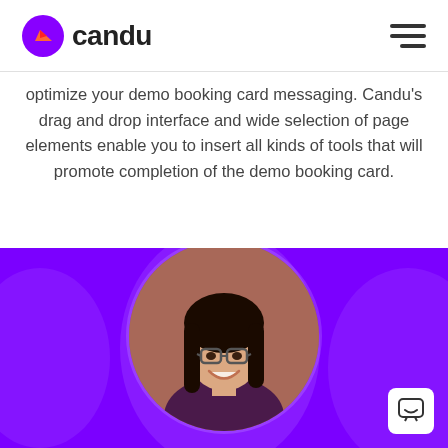candu
optimize your demo booking card messaging. Candu’s drag and drop interface and wide selection of page elements enable you to insert all kinds of tools that will promote completion of the demo booking card.
[Figure (photo): Purple background section with decorative translucent circles and a circular profile photo of a young woman with glasses and long black hair, smiling, with a brick wall background. A white chat widget icon is in the bottom right corner.]